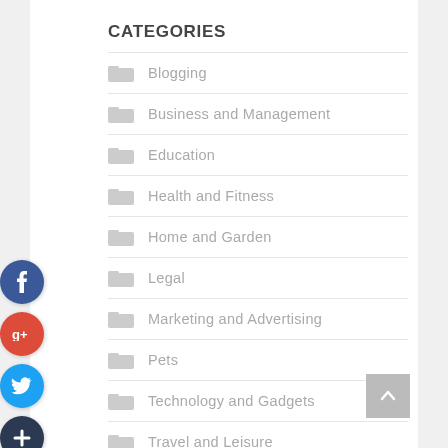CATEGORIES
Blogging
Business and Management
Education
Health and Fitness
Home and Garden
Legal
Marketing and Advertising
Pets
Technology and Gadgets
Travel and Leisure